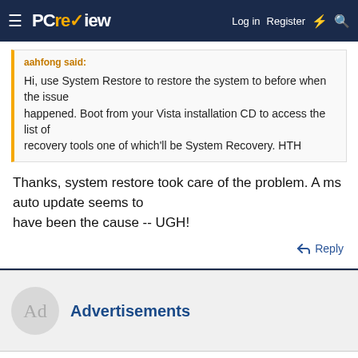PC review — Log in  Register
aahfong said:
Hi, use System Restore to restore the system to before when the issue happened. Boot from your Vista installation CD to access the list of recovery tools one of which'll be System Recovery. HTH
Thanks, system restore took care of the problem. A ms auto update seems to have been the cause -- UGH!
Reply
Advertisements